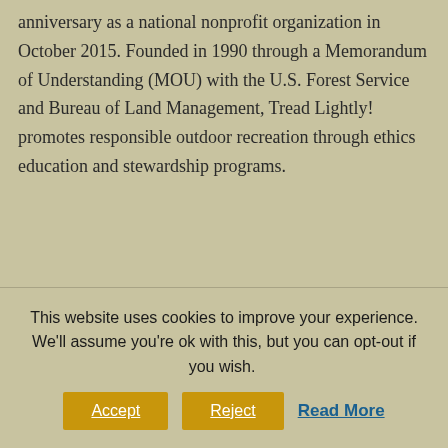anniversary as a national nonprofit organization in October 2015. Founded in 1990 through a Memorandum of Understanding (MOU) with the U.S. Forest Service and Bureau of Land Management, Tread Lightly! promotes responsible outdoor recreation through ethics education and stewardship programs.
Tread Lightly! has more than 70 official
This website uses cookies to improve your experience. We'll assume you're ok with this, but you can opt-out if you wish.